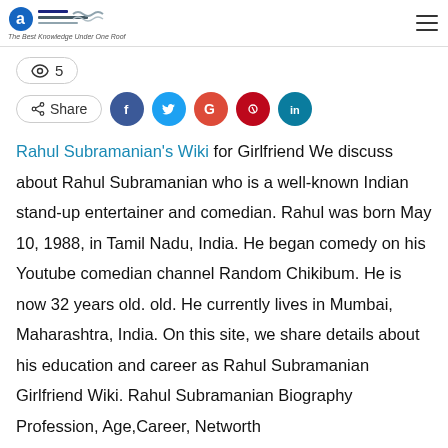The Best Knowledge Under One Roof
👁 5
Share
Rahul Subramanian's Wiki for Girlfriend We discuss about Rahul Subramanian who is a well-known Indian stand-up entertainer and comedian. Rahul was born May 10, 1988, in Tamil Nadu, India. He began comedy on his Youtube comedian channel Random Chikibum. He is now 32 years old. old. He currently lives in Mumbai, Maharashtra, India. On this site, we share details about his education and career as Rahul Subramanian Girlfriend Wiki. Rahul Subramanian Biography Profession, Age,Career, Networth